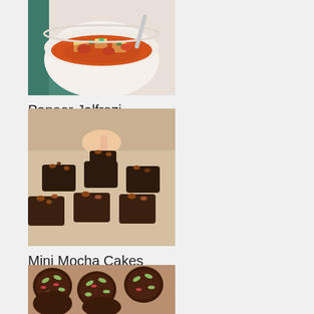[Figure (photo): A bowl of Paneer Jalfrezi - Indian curry dish with paneer cubes, peppers and vegetables in a tomato-based sauce]
Paneer Jalfrezi
[Figure (photo): Mini Mocha Cakes - small dark chocolate cakes/brownies with nuts on a baking surface, a hand picking one up]
Mini Mocha Cakes
[Figure (photo): Chocolate cookies or baked goods topped with seeds and nuts arranged on a surface]